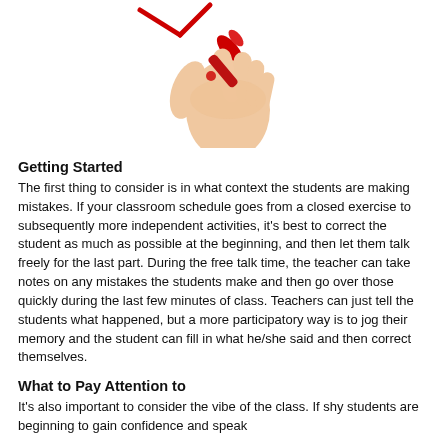[Figure (photo): A hand holding a red marker/pen, with a red checkmark or cross visible at the top, suggesting error correction or marking.]
Getting Started
The first thing to consider is in what context the students are making mistakes. If your classroom schedule goes from a closed exercise to subsequently more independent activities, it's best to correct the student as much as possible at the beginning, and then let them talk freely for the last part. During the free talk time, the teacher can take notes on any mistakes the students make and then go over those quickly during the last few minutes of class. Teachers can just tell the students what happened, but a more participatory way is to jog their memory and the student can fill in what he/she said and then correct themselves.
What to Pay Attention to
It's also important to consider the vibe of the class. If shy students are beginning to gain confidence and speak